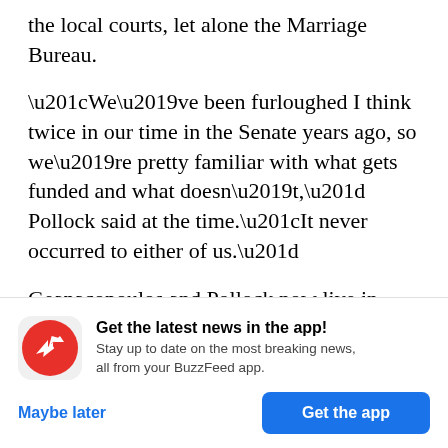the local courts, let alone the Marriage Bureau.
“We’ve been furloughed I think twice in our time in the Senate years ago, so we’re pretty familiar with what gets funded and what doesn’t,” Pollock said at the time.“It never occurred to either of us.”
Geanacopoulos and Pollock now live in New York and have been following the action out of the Mayor’s Office and in the DC Council since their story came out. They went ahead with their
[Figure (logo): BuzzFeed app icon: red circle with white trending arrow logo]
Get the latest news in the app! Stay up to date on the most breaking news, all from your BuzzFeed app.
Maybe later
Get the app